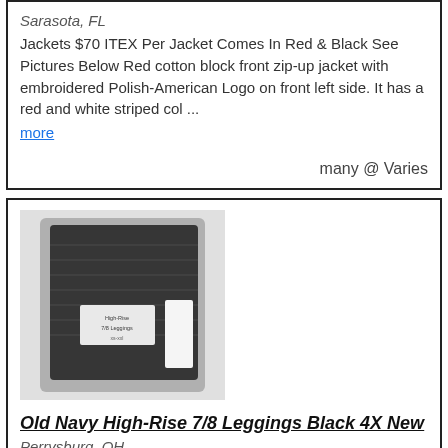Sarasota, FL
Jackets $70 ITEX Per Jacket Comes In Red & Black See Pictures Below Red cotton block front zip-up jacket with embroidered Polish-American Logo on front left side. It has a red and white striped col ...
more
many @ Varies
[Figure (photo): Packaged black Old Navy High-Rise 7/8 Leggings in plastic bag, shown from front]
Old Navy High-Rise 7/8 Leggings Black 4X New
Perrysburg, OH
Old Navy High-Rise 7/8 Leggings Black 4X. New in